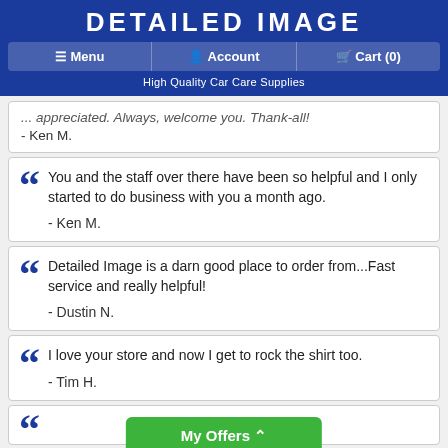DETAILED IMAGE
Menu | Account | Cart (0)
High Quality Car Care Supplies
- Ken M. (partial card top)
You and the staff over there have been so helpful and I only started to do business with you a month ago. - Ken M.
Detailed Image is a darn good place to order from...Fast service and really helpful! - Dustin N.
I love your store and now I get to rock the shirt too. - Tim H.
My Offers